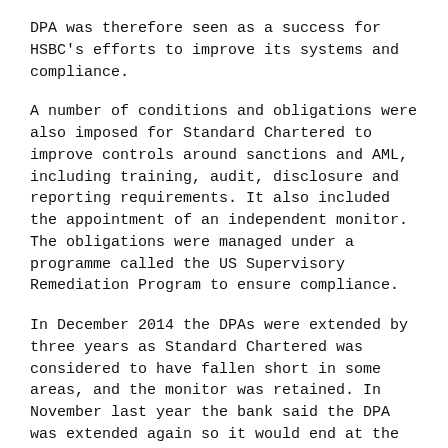DPA was therefore seen as a success for HSBC's efforts to improve its systems and compliance.
A number of conditions and obligations were also imposed for Standard Chartered to improve controls around sanctions and AML, including training, audit, disclosure and reporting requirements. It also included the appointment of an independent monitor. The obligations were managed under a programme called the US Supervisory Remediation Program to ensure compliance.
In December 2014 the DPAs were extended by three years as Standard Chartered was considered to have fallen short in some areas, and the monitor was retained. In November last year the bank said the DPA was extended again so it would end at the same time as the independent monitor's oversight on July 28 this year.
Author: Steve Slater